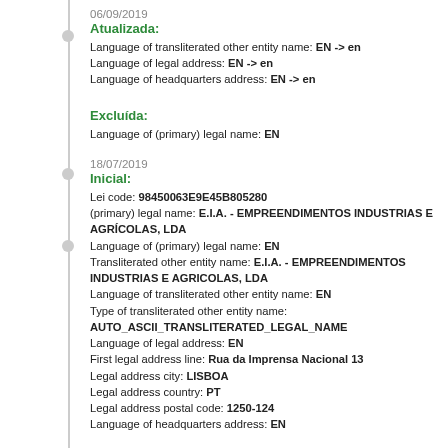06/09/2019
Atualizada:
Language of transliterated other entity name: EN -> en
Language of legal address: EN -> en
Language of headquarters address: EN -> en
Excluída:
Language of (primary) legal name: EN
18/07/2019
Inicial:
Lei code: 98450063E9E45B805280
(primary) legal name: E.I.A. - EMPREENDIMENTOS INDUSTRIAS E AGRÍCOLAS, LDA
Language of (primary) legal name: EN
Transliterated other entity name: E.I.A. - EMPREENDIMENTOS INDUSTRIAS E AGRICOLAS, LDA
Language of transliterated other entity name: EN
Type of transliterated other entity name: AUTO_ASCII_TRANSLITERATED_LEGAL_NAME
Language of legal address: EN
First legal address line: Rua da Imprensa Nacional 13
Legal address city: LISBOA
Legal address country: PT
Legal address postal code: 1250-124
Language of headquarters address: EN